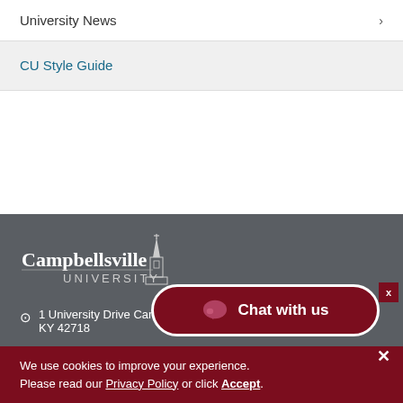University News
CU Style Guide
[Figure (logo): Campbellsville University logo with church steeple illustration and text 'Campbellsville UNIVERSITY']
1 University Drive Campbellsville, KY 42718
Chat with us
We use cookies to improve your experience. Please read our Privacy Policy or click Accept.